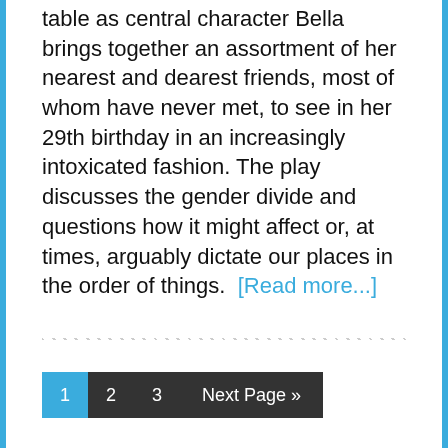table as central character Bella brings together an assortment of her nearest and dearest friends, most of whom have never met, to see in her 29th birthday in an increasingly intoxicated fashion. The play discusses the gender divide and questions how it might affect or, at times, arguably dictate our places in the order of things. … [Read more...]
1  2  3  Next Page »